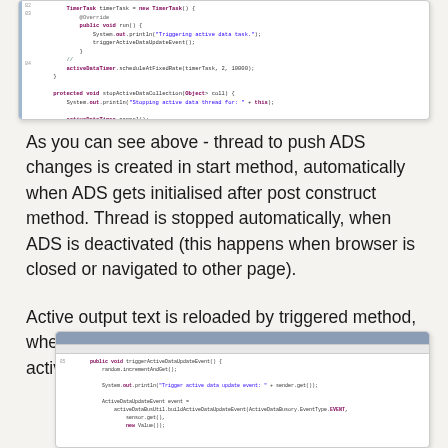[Figure (screenshot): IDE/code editor screenshot showing Java code with TimerTask, @Override, public void run() method, System.out.println triggering active data task, triggerActiveDataUpdateEvent, activeDataTimer.scheduleAtFixedRate, and stopActiveDataCollection method]
As you can see above - thread to push ADS changes is created in start method, automatically when ADS gets initialised after post construct method. Thread is stopped automatically, when ADS is deactivated (this happens when browser is closed or navigated to other page).
Active output text is reloaded by triggered method, where ADS event is generated - using registered active output text value:
[Figure (screenshot): IDE/code editor screenshot showing Java code with public void triggerActiveDataUpdateEvent method, random.incrementAndGet(), System.out.println triggering active data update event with sender.get(), ActiveDataUpdateEvent event construction using activeDataBusUtil.buildActiveDataUpdateEvent with ActiveDataBusory.EventType.EVENT, sensor.get(), new Value()]